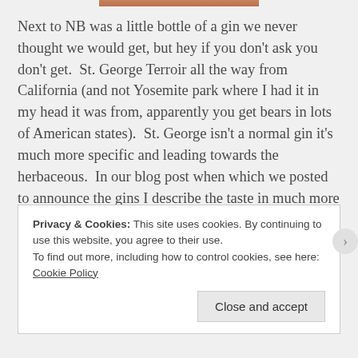[Figure (photo): Partial image of a bottle visible at the top of the page]
Next to NB was a little bottle of a gin we never thought we would get, but hey if you don't ask you don't get.  St. George Terroir all the way from California (and not Yosemite park where I had it in my head it was from, apparently you get bears in lots of American states).  St. George isn't a normal gin it's much more specific and leading towards the herbaceous.  In our blog post when which we posted to announce the gins I describe the taste in much more detail but just to remind you, it tastes like an alcoholic alpine woodland, there is that hint of the smell your living room gets on the first day
Privacy & Cookies: This site uses cookies. By continuing to use this website, you agree to their use.
To find out more, including how to control cookies, see here: Cookie Policy
Close and accept